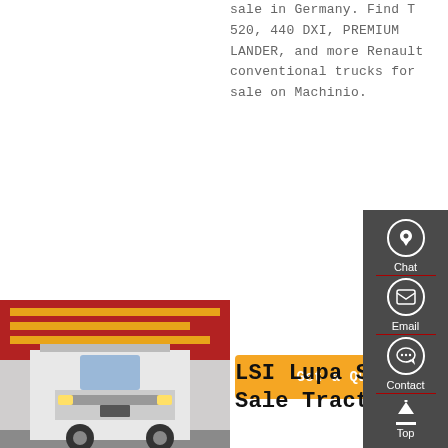sale in Germany. Find T 520, 440 DXI, PREMIUM LANDER, and more Renault conventional trucks for sale on Machinio.
Get a Quote
[Figure (photo): White heavy-duty truck (SINOTRUK HOWO style) parked in front of a building with Chinese text banners in red and yellow.]
LSI Lupa Sebastian - Trucks For Sale Tractor Units For Sale
chassis trucks dump trucks flatbed trucks hook lift trucks